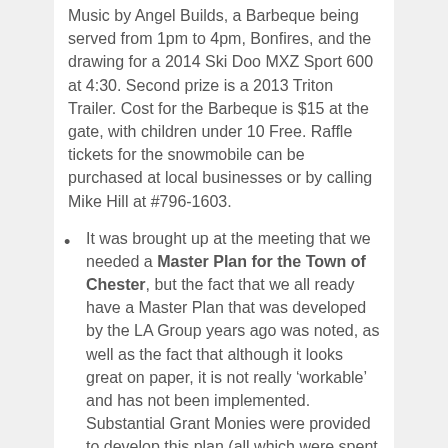Music by Angel Builds, a Barbeque being served from 1pm to 4pm, Bonfires, and the drawing for a 2014 Ski Doo MXZ Sport 600 at 4:30. Second prize is a 2013 Triton Trailer. Cost for the Barbeque is $15 at the gate, with children under 10 Free. Raffle tickets for the snowmobile can be purchased at local businesses or by calling Mike Hill at #796-1603.
It was brought up at the meeting that we needed a Master Plan for the Town of Chester, but the fact that we all ready have a Master Plan that was developed by the LA Group years ago was noted, as well as the fact that although it looks great on paper, it is not really ‘workable’ and has not been implemented. Substantial Grant Monies were provided to develop this plan (all which were spent on the design?) but when the State re-